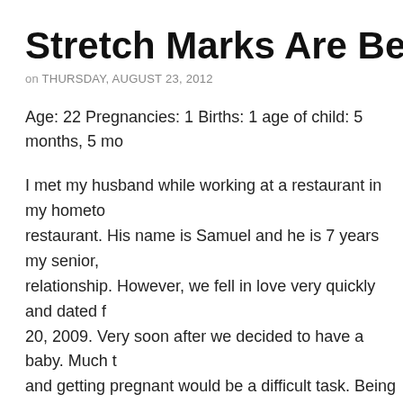Stretch Marks Are Beautiful! (A…
on THURSDAY, AUGUST 23, 2012
Age: 22 Pregnancies: 1 Births: 1 age of child: 5 months, 5 mo…
I met my husband while working at a restaurant in my hometo… restaurant. His name is Samuel and he is 7 years my senior, … relationship. However, we fell in love very quickly and dated f… 20, 2009. Very soon after we decided to have a baby. Much t… and getting pregnant would be a difficult task. Being only 19 a… whole other story). Finally, we found a truly wonderful doctor … finally pregnant! My pregnancy was very rough in the beginni… sleep well at night… I lost 25 pounds in 2 months. None of th… My husband (who was away on business) drove all the way h… there! It was a wonderful time… On February 6, 2012 we wel…